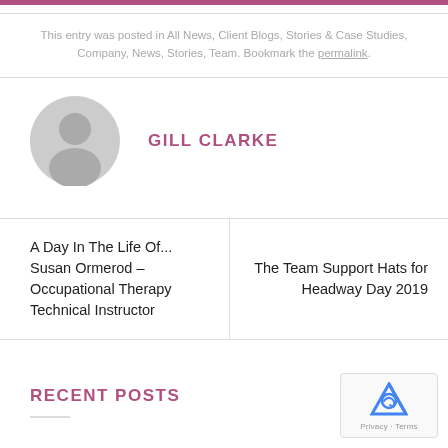This entry was posted in All News, Client Blogs, Stories & Case Studies, Company, News, Stories, Team. Bookmark the permalink.
[Figure (illustration): Circular grey avatar/profile placeholder icon with a silhouette of a person]
GILL CLARKE
A Day In The Life Of... Susan Ormerod – Occupational Therapy Technical Instructor
The Team Support Hats for Headway Day 2019
RECENT POSTS